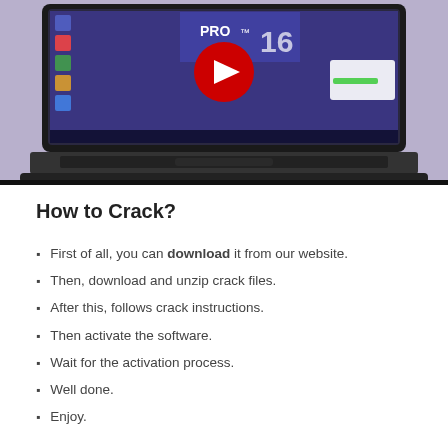[Figure (screenshot): Screenshot of a laptop (Acer) displaying a YouTube video thumbnail for a software product called PRO 16, with a large red YouTube play button overlaid on the screen. The laptop is shown on a light purple/gray background.]
How to Crack?
First of all, you can download it from our website.
Then, download and unzip crack files.
After this, follows crack instructions.
Then activate the software.
Wait for the activation process.
Well done.
Enjoy.